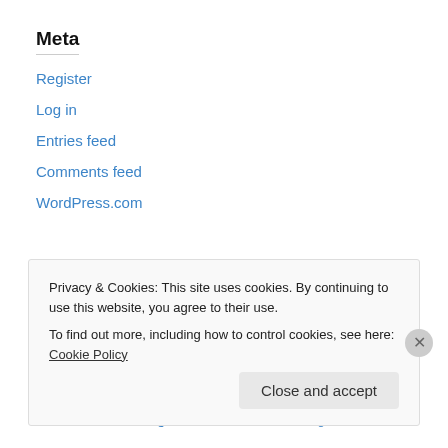Meta
Register
Log in
Entries feed
Comments feed
WordPress.com
2007 novel  2007 novels  Ann Walters  authors  bestseller  bestselling author  bestselling authors  bestselling books  bizarre news  blog contest
Privacy & Cookies: This site uses cookies. By continuing to use this website, you agree to their use. To find out more, including how to control cookies, see here: Cookie Policy